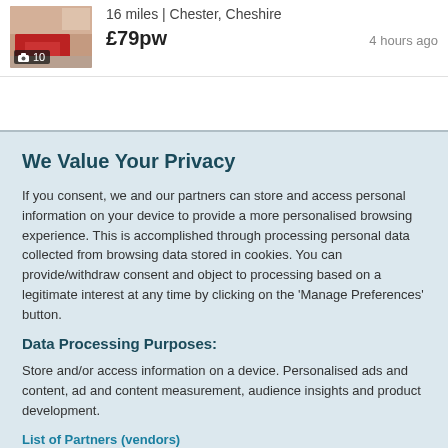[Figure (photo): Thumbnail photo of a room interior with red sofa, with a photo count badge showing camera icon and '10']
16 miles | Chester, Cheshire
£79pw   4 hours ago
We Value Your Privacy
If you consent, we and our partners can store and access personal information on your device to provide a more personalised browsing experience. This is accomplished through processing personal data collected from browsing data stored in cookies. You can provide/withdraw consent and object to processing based on a legitimate interest at any time by clicking on the 'Manage Preferences' button.
Data Processing Purposes:
Store and/or access information on a device. Personalised ads and content, ad and content measurement, audience insights and product development.
List of Partners (vendors)
Accept
Manage your privacy settings